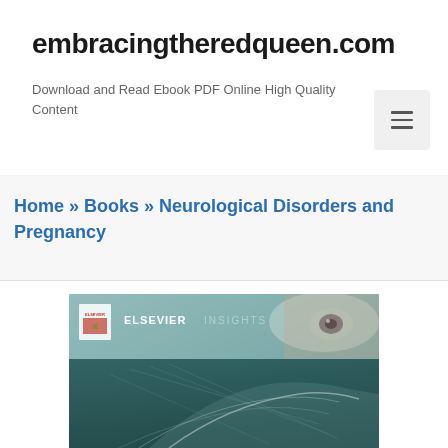embracingtheredqueen.com
Download and Read Ebook PDF Online High Quality Content
Home » Books » Neurological Disorders and Pregnancy
[Figure (photo): Book cover of Neurological Disorders and Pregnancy, Elsevier Insights series. Teal and dark cover with an eye image and ultrasound imagery.]